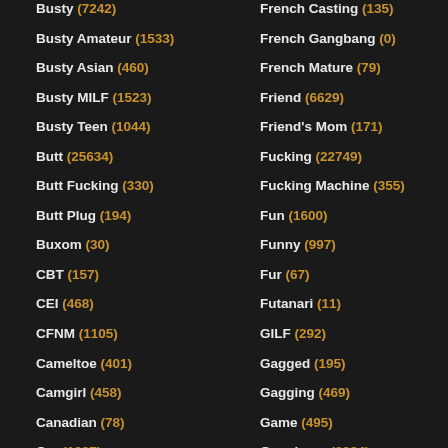Busty (7242)
Busty Amateur (1533)
Busty Asian (460)
Busty MILF (1523)
Busty Teen (1044)
Butt (25634)
Butt Fucking (330)
Butt Plug (194)
Buxom (30)
CBT (157)
CEI (468)
CFNM (1105)
Cameltoe (401)
Camgirl (458)
Canadian (78)
Car (1097)
French Casting (135)
French Gangbang (0)
French Mature (79)
Friend (6629)
Friend's Mom (171)
Fucking (22749)
Fucking Machine (355)
Fun (1600)
Funny (997)
Fur (67)
Futanari (11)
GILF (292)
Gagged (195)
Gagging (469)
Game (495)
Gangbang (3034)